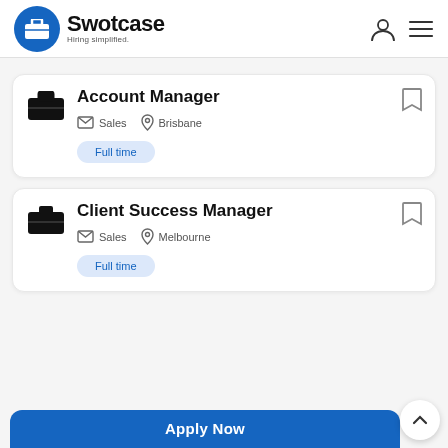Swotcase — Hiring simplified.
Account Manager
Sales   Brisbane
Full time
Client Success Manager
Sales   Melbourne
Full time
Apply Now